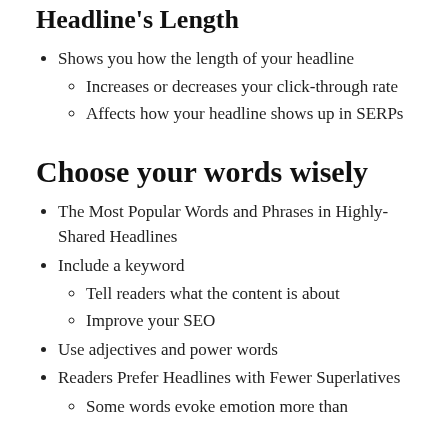CoSchedule's Analyzer Grades Your Headline's Length
Shows you how the length of your headline
Increases or decreases your click-through rate
Affects how your headline shows up in SERPs
Choose your words wisely
The Most Popular Words and Phrases in Highly-Shared Headlines
Include a keyword
Tell readers what the content is about
Improve your SEO
Use adjectives and power words
Readers Prefer Headlines with Fewer Superlatives
Some words evoke emotion more than